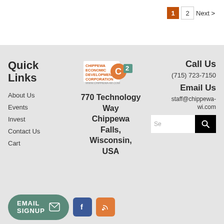1  2  Next >
Quick Links
About Us
Events
Invest
Contact Us
Cart
[Figure (logo): Chippewa Economic Development Corporation C2 logo]
770 Technology Way Chippewa Falls, Wisconsin, USA
Call Us
(715) 723-7150
Email Us
staff@chippewa-wi.com
EMAIL SIGNUP
EMAIL SIGNUP  f  RSS